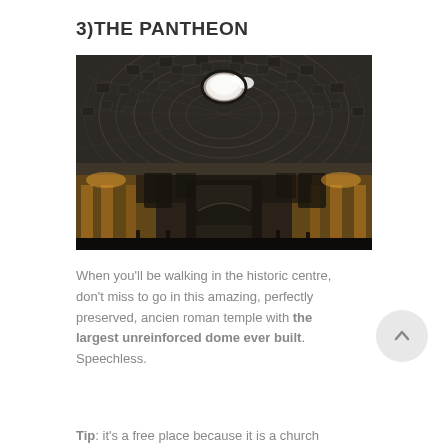3)THE PANTHEON
[Figure (photo): Interior upward view of the Pantheon dome with its famous oculus (circular opening at top letting in light), showing the coffered concrete ceiling and the circular rotunda walls with columns and arches below, lit with warm golden lighting]
When you'll be walking in the historic centre, don't miss to go in this amazing, perfectly preserved, ancien roman temple with the largest unreinforced dome ever built. Speechless.
Tip: it's a free place because it is a church